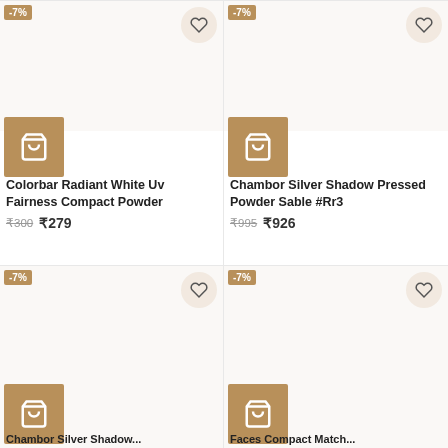[Figure (photo): Product card: Colorbar Radiant White Uv Fairness Compact Powder with -7% badge, cart button, wishlist button]
Colorbar Radiant White Uv Fairness Compact Powder
₹300 ₹279
[Figure (photo): Product card: Chambor Silver Shadow Pressed Powder Sable #Rr3 with -7% badge, cart button, wishlist button]
Chambor Silver Shadow Pressed Powder Sable #Rr3
₹995 ₹926
[Figure (photo): Product card bottom left: Chambor Silver Shadow with -7% badge and cart button]
[Figure (photo): Product card bottom right: product with -7% badge and cart button]